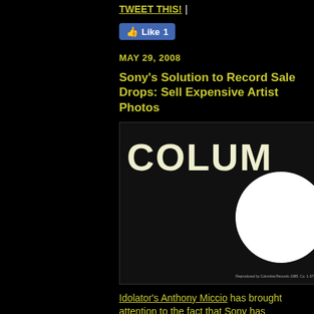TWEET THIS! |
[Figure (screenshot): Facebook Like button showing 1 like]
MAY 29, 2008
Sony's Solution to Record Sale Drops: Sell Expensive Artist Photos
[Figure (photo): Columbia Records logo image — black sleeve with COLUM text and white circle/disc shape]
Idolator's Anthony Miccio has brought attention to the fact that Sony has